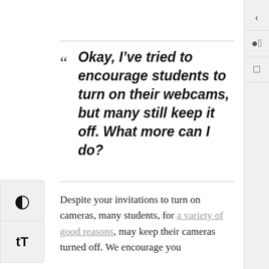“ Okay, I’ve tried to encourage students to turn on their webcams, but many still keep it off. What more can I do?
Despite your invitations to turn on cameras, many students, for a variety of good reasons, may keep their cameras turned off. We encourage you